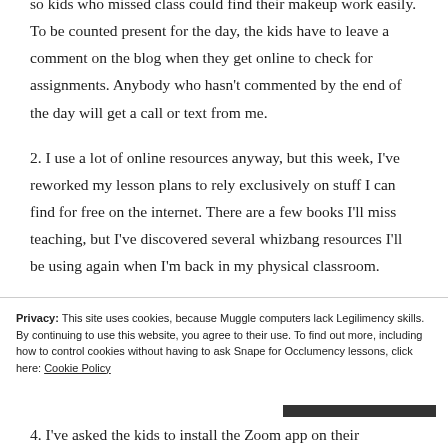so kids who missed class could find their makeup work easily. To be counted present for the day, the kids have to leave a comment on the blog when they get online to check for assignments. Anybody who hasn't commented by the end of the day will get a call or text from me.
2. I use a lot of online resources anyway, but this week, I've reworked my lesson plans to rely exclusively on stuff I can find for free on the internet. There are a few books I'll miss teaching, but I've discovered several whizbang resources I'll be using again when I'm back in my physical classroom.
Privacy: This site uses cookies, because Muggle computers lack Legilimency skills. By continuing to use this website, you agree to their use. To find out more, including how to control cookies without having to ask Snape for Occlumency lessons, click here: Cookie Policy
4. I've asked the kids to install the Zoom app on their